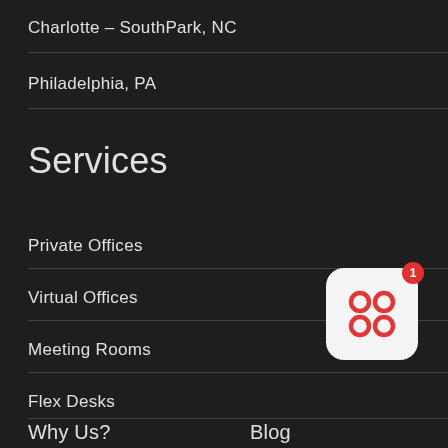Charlotte – SouthPark, NC
Philadelphia, PA
Services
Private Offices
Virtual Offices
Meeting Rooms
Flex Desks
Why Us?
Blog